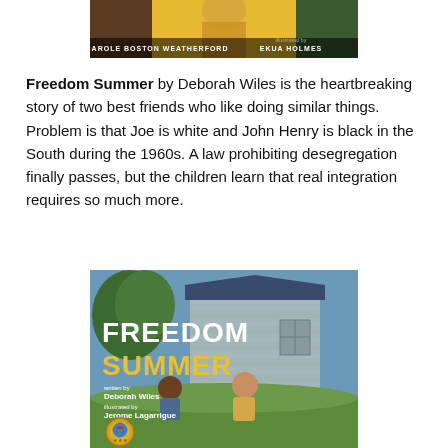[Figure (illustration): Top portion of a book cover showing authors Carole Boston Weatherford and Ekua Holmes]
Freedom Summer by Deborah Wiles is the heartbreaking story of two best friends who like doing similar things. Problem is that Joe is white and John Henry is black in the South during the 1960s. A law prohibiting desegregation finally passes, but the children learn that real integration requires so much more.
[Figure (illustration): Book cover of Freedom Summer written by Deborah Wiles, illustrated by Jerome Lagarrigue, showing two children near a barn with a gold medal award seal]